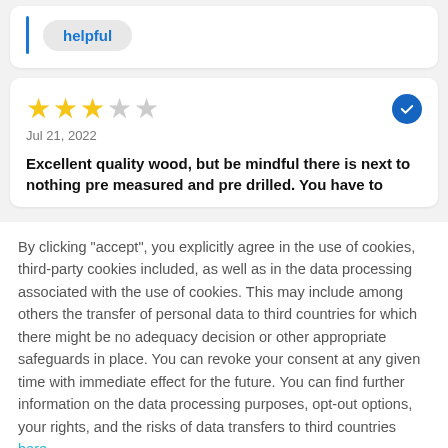helpful
★★★☆☆
Jul 21, 2022
Excellent quality wood, but be mindful there is next to nothing pre measured and pre drilled. You have to
By clicking "accept", you explicitly agree in the use of cookies, third-party cookies included, as well as in the data processing associated with the use of cookies. This may include among others the transfer of personal data to third countries for which there might be no adequacy decision or other appropriate safeguards in place. You can revoke your consent at any given time with immediate effect for the future. You can find further information on the data processing purposes, opt-out options, your rights, and the risks of data transfers to third countries here.
ACCEPT